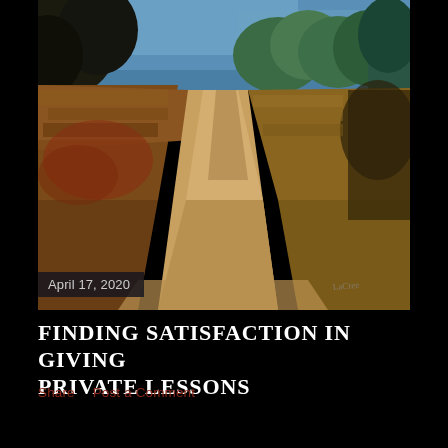[Figure (illustration): Painting of a winding dirt road through golden-brown fields with dark trees against a blue sky. An impressionistic landscape in warm earth tones.]
April 17, 2020
FINDING SATISFACTION IN GIVING PRIVATE LESSONS
Share    Post a Comment